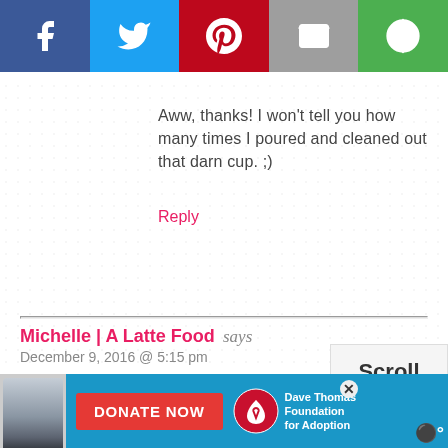[Figure (screenshot): Social media share bar with Facebook (blue), Twitter (light blue), Pinterest (red), Email (grey), and another option (green) icons]
Aww, thanks! I won't tell you how many times I poured and cleaned out that darn cup. ;)
Reply
Michelle | A Latte Food says
December 9, 2016 @ 5:15 pm
This is so gorgeous! I love homemade hot chocolate (and those marshmallows!!)!
Reply
Scroll
to
top
[Figure (screenshot): Advertisement bar: Dave Thomas Foundation for Adoption donate now banner with a young person photo and red DONATE NOW button]